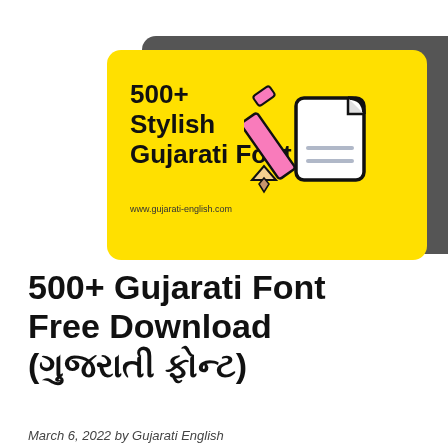[Figure (illustration): Promotional banner image showing a yellow card with '500+ Stylish Gujarati Font' text and a pencil writing icon on a gray background card behind it. URL www.gujarati-english.com shown at bottom of yellow card.]
500+ Gujarati Font Free Download (ગુજરાતી ફોન્ટ)
March 6, 2022 by Gujarati English